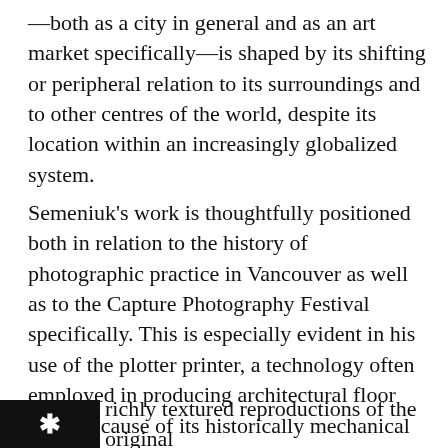—both as a city in general and as an art market specifically—is shaped by its shifting or peripheral relation to its surroundings and to other centres of the world, despite its location within an increasingly globalized system.

Semeniuk's work is thoughtfully positioned both in relation to the history of photographic practice in Vancouver as well as to the Capture Photography Festival specifically. This is especially evident in his use of the plotter printer, a technology often employed in producing architectural floor plans because of its historically mechanical function (the use of a pen or other instrument to draw complex line art). The resulting images are somewhat crude and * richly textured reproductions of the original